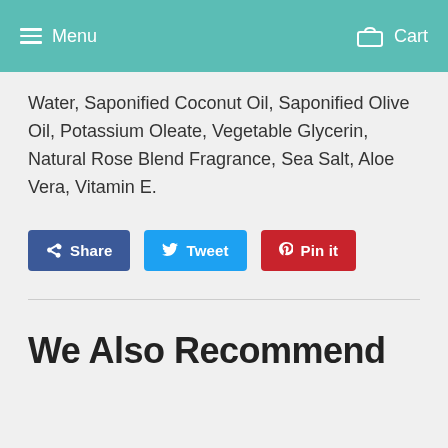Menu   Cart
Water, Saponified Coconut Oil, Saponified Olive Oil, Potassium Oleate, Vegetable Glycerin, Natural Rose Blend Fragrance, Sea Salt, Aloe Vera, Vitamin E.
We Also Recommend